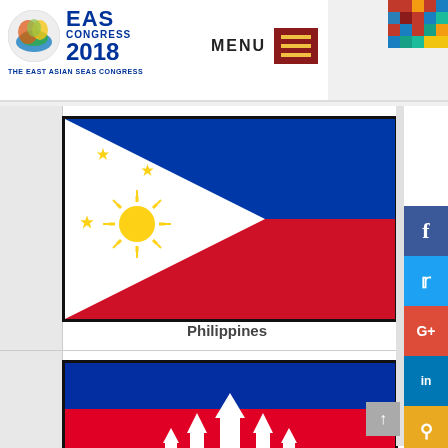[Figure (logo): EAS Congress 2018 logo with colorful emblem and text 'THE EAST ASIAN SEAS CONGRESS']
[Figure (infographic): MENU button with hamburger icon on dark red background, and decorative pixel mosaic pattern in top right corner]
[Figure (illustration): Philippine flag: horizontal bicolor of blue (top) and red (bottom) with white equilateral triangle at hoist side. Triangle contains a golden sun with 8 rays and three golden five-pointed stars.]
Philippines
[Figure (illustration): Partial view of Cambodia flag: blue-red-blue horizontal stripes with white Angkor Wat temple silhouette in the center red stripe.]
[Figure (infographic): Social media sidebar with Facebook, Twitter, Google+, LinkedIn, and search icons.]